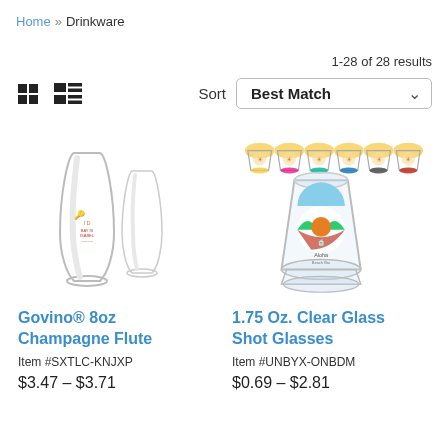Home » Drinkware
1-28 of 28 results
[Figure (screenshot): Grid and list view toggle icons]
Sort  Best Match
[Figure (photo): Govino 8oz Champagne Flute product image showing two clear stemless flutes with a decorative key logo]
Govino® 8oz Champagne Flute
Item #SXTLC-KNJXP
$3.47 – $3.71
[Figure (photo): 1.75 Oz Clear Glass Shot Glasses product image showing 6 small shot glasses in different colors from above and one larger clear shot glass with Aloha Beach Bar logo]
1.75 Oz. Clear Glass Shot Glasses
Item #UNBYX-ONBDM
$0.69 – $2.81